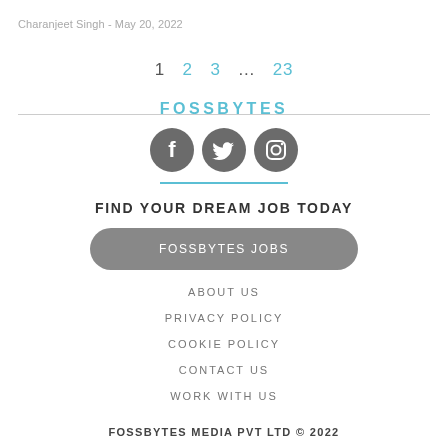Charanjeet Singh - May 20, 2022
1   2   3   ...   23
FOSSBYTES
[Figure (illustration): Three circular social media icons: Facebook, Twitter, Instagram in dark gray]
FIND YOUR DREAM JOB TODAY
FOSSBYTES JOBS
ABOUT US
PRIVACY POLICY
COOKIE POLICY
CONTACT US
WORK WITH US
FOSSBYTES MEDIA PVT LTD © 2022